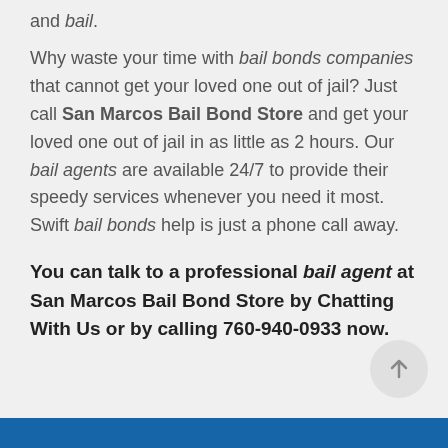and bail.
Why waste your time with bail bonds companies that cannot get your loved one out of jail? Just call San Marcos Bail Bond Store and get your loved one out of jail in as little as 2 hours. Our bail agents are available 24/7 to provide their speedy services whenever you need it most. Swift bail bonds help is just a phone call away.
You can talk to a professional bail agent at San Marcos Bail Bond Store by Chatting With Us or by calling 760-940-0933 now.